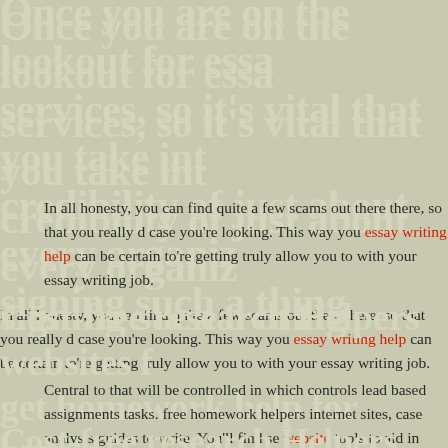Once you are on the lookout for essa services, so it's vital that you take in credibility of just about every organiz signing such a thing
In all honesty, you can find quite a few scams out there there, so that you really d case you're looking. This way you essay writing help can be certain to're getting truly allow you to with your essay writing job.
Cost-free research Helpers websites f get homework help for pupils
Central to that will be controlled in which controls lead based assignments tasks. free homework helpers internet sites, case analysis guides to write. You'll find se website tools to aid in research assist. It is my hope that this info is of attention a notion in your head.
Cost-free research Helpers websites